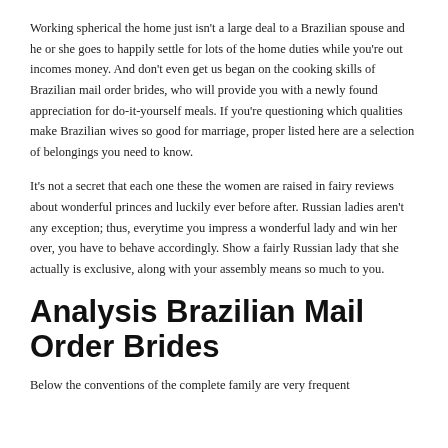Working spherical the home just isn't a large deal to a Brazilian spouse and he or she goes to happily settle for lots of the home duties while you're out incomes money. And don't even get us began on the cooking skills of Brazilian mail order brides, who will provide you with a newly found appreciation for do-it-yourself meals. If you're questioning which qualities make Brazilian wives so good for marriage, proper listed here are a selection of belongings you need to know.
It's not a secret that each one these the women are raised in fairy reviews about wonderful princes and luckily ever before after. Russian ladies aren't any exception; thus, everytime you impress a wonderful lady and win her over, you have to behave accordingly. Show a fairly Russian lady that she actually is exclusive, along with your assembly means so much to you.
Analysis Brazilian Mail Order Brides
Below the conventions of the complete family are very frequent